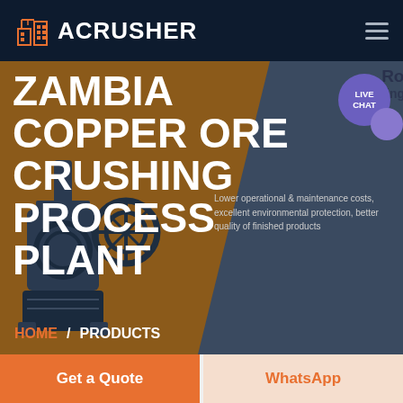ACRUSHER
ZAMBIA COPPER ORE CRUSHING PROCESS PLANT
Roller Grinding Mill
Lower operational & maintenance costs, excellent environmental protection, better quality of finished products
HOME / PRODUCTS
[Figure (screenshot): Website screenshot showing ACRUSHER company page for Zambia Copper Ore Crushing Process Plant with industrial crusher machine image, navigation bar, breadcrumb trail HOME/PRODUCTS, Live Chat bubble, Get a Quote and WhatsApp buttons]